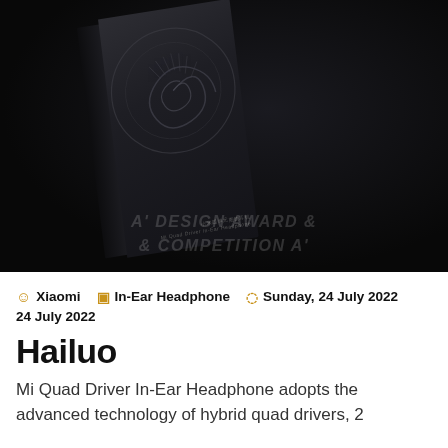[Figure (photo): Dark product packaging box with embossed nautilus shell spiral design, photographed against a near-black background. A Design Award & Competition watermark is visible at the bottom of the image.]
Xiaomi   In-Ear Headphone   Sunday, 24 July 2022
Hailuo
Mi Quad Driver In-Ear Headphone adopts the advanced technology of hybrid quad drivers, 2